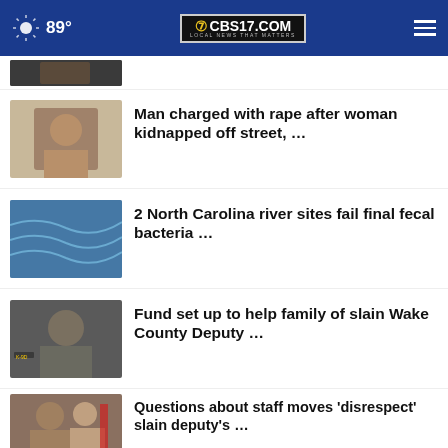89° CBS17.COM LOCAL NEWS THAT MATTERS
Man charged with rape after woman kidnapped off street, …
2 North Carolina river sites fail final fecal bacteria …
Fund set up to help family of slain Wake County Deputy …
Questions about staff moves 'disrespect' slain deputy's …
Stray gunfire near Knightdale leads to proposed changes …